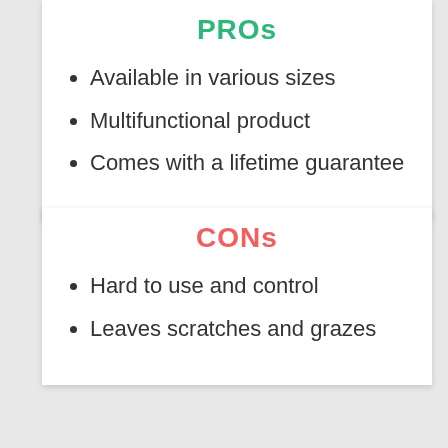PROs
Available in various sizes
Multifunctional product
Comes with a lifetime guarantee
CONs
Hard to use and control
Leaves scratches and grazes